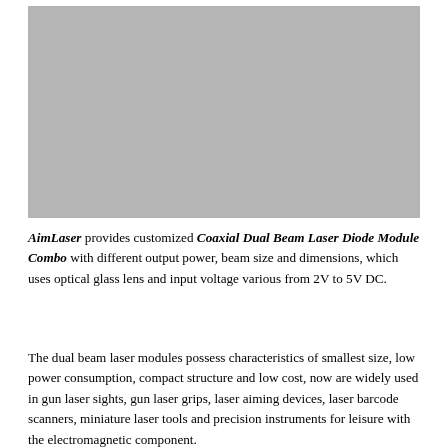[Figure (photo): Gray placeholder image showing a laser module product photo]
AimLaser provides customized Coaxial Dual Beam Laser Diode Module Combo with different output power, beam size and dimensions, which uses optical glass lens and input voltage various from 2V to 5V DC.
The dual beam laser modules possess characteristics of smallest size, low power consumption, compact structure and low cost, now are widely used in gun laser sights, gun laser grips, laser aiming devices, laser barcode scanners, miniature laser tools and precision instruments for leisure with the electromagnetic component.